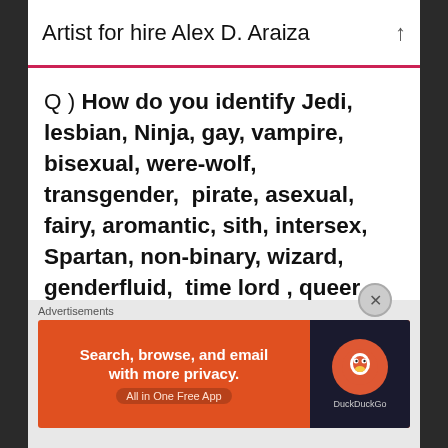Artist for hire Alex D. Araiza
Q ) How do you identify Jedi, lesbian, Ninja, gay, vampire, bisexual, were-wolf, transgender,  pirate, asexual,  fairy, aromantic, sith, intersex,  Spartan, non-binary, wizard, genderfluid,  time lord , queer,  …?  ?
I'm a trans man. I'm latino. I like vampires and I always play as a dark elf goody goody cleric, but at the end of the day I might just
Advertisements
[Figure (screenshot): DuckDuckGo advertisement banner: orange background on left with text 'Search, browse, and email with more privacy. All in One Free App'; dark right panel with DuckDuckGo duck logo]